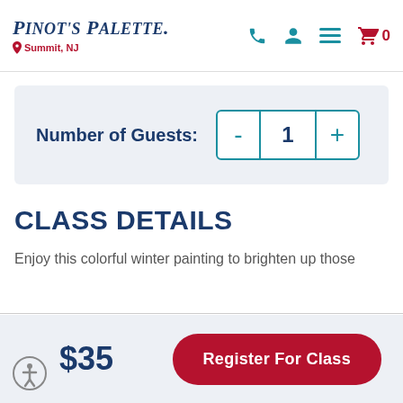Pinot's Palette — Summit, NJ
Number of Guests: 1
CLASS DETAILS
Enjoy this colorful winter painting to brighten up those
$35
Register For Class